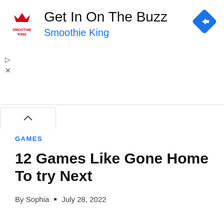[Figure (other): Smoothie King advertisement banner with logo, title 'Get In On The Buzz', subtitle 'Smoothie King', and navigation icon]
GAMES
12 Games Like Gone Home To try Next
By Sophia • July 28, 2022